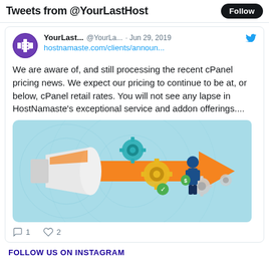Tweets from @YourLastHost
YourLast... @YourLa... · Jun 29, 2019
hostnamaste.com/clients/announ...
We are aware of, and still processing the recent cPanel pricing news. We expect our pricing to continue to be at, or below, cPanel retail rates. You will not see any lapse in HostNamaste's exceptional service and addon offerings....
[Figure (illustration): Marketing illustration showing a megaphone with an orange arrow, gears, and a businessperson, on a light blue world map background]
1  2
FOLLOW US ON INSTAGRAM